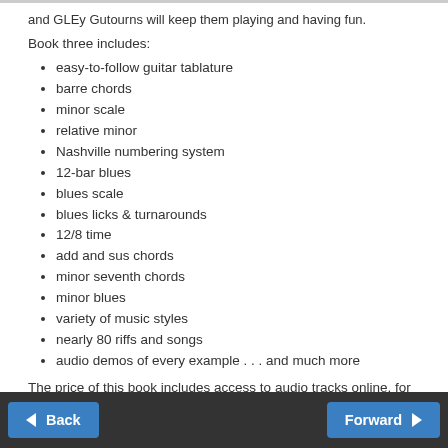and GLEy Gutourns will keep them playing and having fun.
Book three includes:
easy-to-follow guitar tablature
barre chords
minor scale
relative minor
Nashville numbering system
12-bar blues
blues scale
blues licks & turnarounds
12/8 time
add and sus chords
minor seventh chords
minor blues
variety of music styles
nearly 80 riffs and songs
audio demos of every example . . . and much more
The price of this book includes access to audio tracks online, for download or streaming, using the unique code inside the book.
Back | Forward